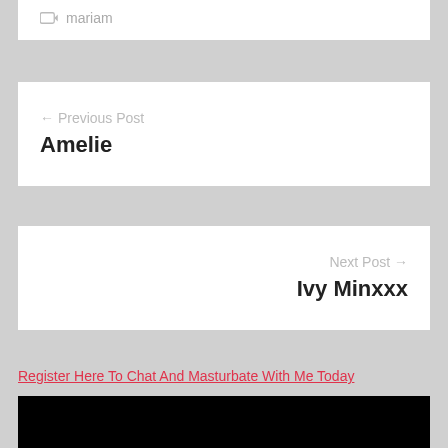mariam
← Previous Post
Amelie
Next Post →
Ivy Minxxx
Register Here To Chat And Masturbate With Me Today
[Figure (photo): Black rectangular image area]